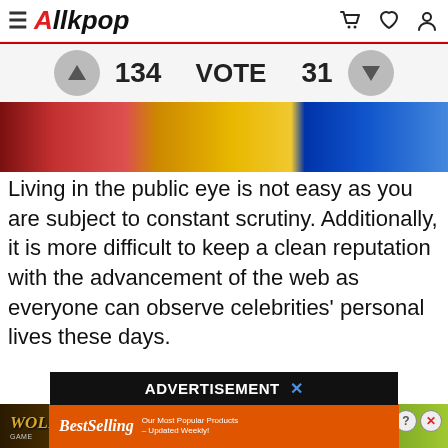Allkpop
134  VOTE  31
[Figure (photo): Cropped image showing people in colorful clothing - yellow/red garments and a blue background element]
Living in the public eye is not easy as you are subject to constant scrutiny. Additionally, it is more difficult to keep a clean reputation with the advancement of the web as everyone can observe celebrities' personal lives these days.
ADVERTISEMENT ✕
[Figure (photo): AliExpress BestSelling advertisement banner - orange background with shopping cart and products, 'Our Most Popular Products - Updated Weekly!' text, Shop Now button]
[Figure (photo): Wolf Game - The Hunt Is On! advertisement banner with wolves in a field]